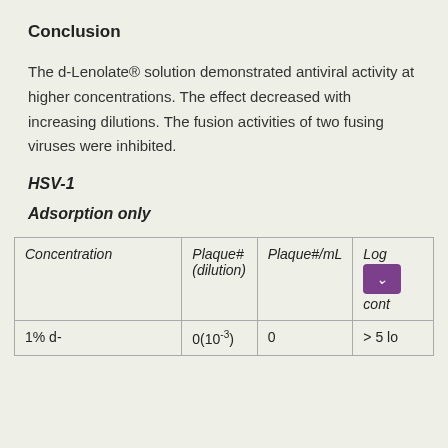Conclusion
The d-Lenolate® solution demonstrated antiviral activity at higher concentrations. The effect decreased with increasing dilutions. The fusion activities of two fusing viruses were inhibited.
HSV-1
Adsorption only
| Concentration | Plaque# (dilution) | Plaque#/mL | Log reduction conti... |
| --- | --- | --- | --- |
| 1% d- | 0(10⁻³) | 0 | > 5 lo |